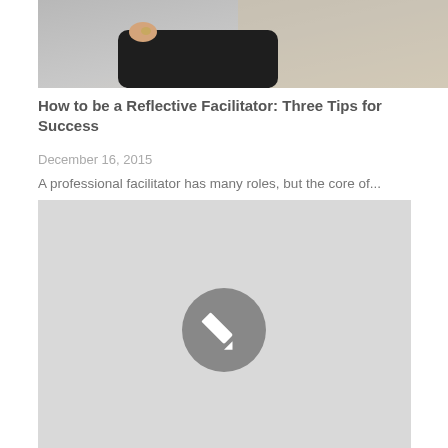[Figure (photo): Top portion of a photo showing a person wearing a dark jacket, cropped at the torso/shoulders area, with a light background.]
How to be a Reflective Facilitator: Three Tips for Success
December 16, 2015
A professional facilitator has many roles, but the core of...
[Figure (illustration): A light gray placeholder image block with a gray circle containing a white pencil/edit icon in the center.]